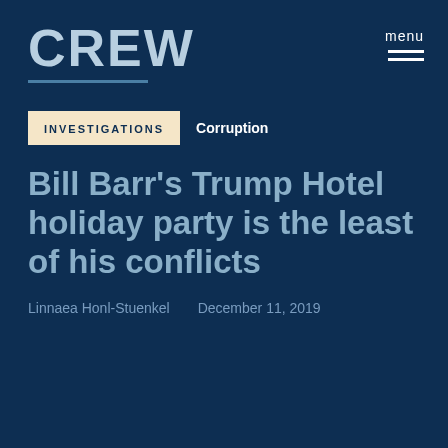[Figure (logo): CREW organization logo with text 'CREW' in large letters and a horizontal underline]
menu
INVESTIGATIONS   Corruption
Bill Barr's Trump Hotel holiday party is the least of his conflicts
Linnaea Honl-Stuenkel   December 11, 2019